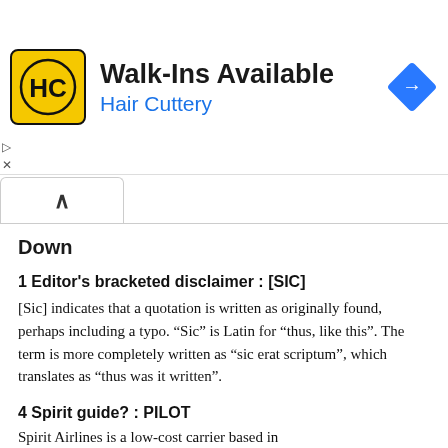[Figure (advertisement): Hair Cuttery advertisement banner with logo, 'Walk-Ins Available' headline, blue subtitle 'Hair Cuttery', and a blue navigation arrow diamond icon on the right]
Down
1 Editor's bracketed disclaimer : [SIC]
[Sic] indicates that a quotation is written as originally found, perhaps including a typo. “Sic” is Latin for “thus, like this”. The term is more completely written as “sic erat scriptum”, which translates as “thus was it written”.
4 Spirit guide? : PILOT
Spirit Airlines is a low-cost carrier based in